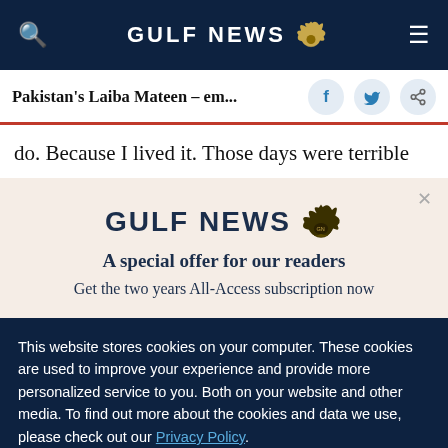GULF NEWS
Pakistan's Laiba Mateen – em...
do. Because I lived it. Those days were terrible
[Figure (logo): Gulf News logo with eagle emblem]
A special offer for our readers
Get the two years All-Access subscription now
This website stores cookies on your computer. These cookies are used to improve your experience and provide more personalized service to you. Both on your website and other media. To find out more about the cookies and data we use, please check out our Privacy Policy.